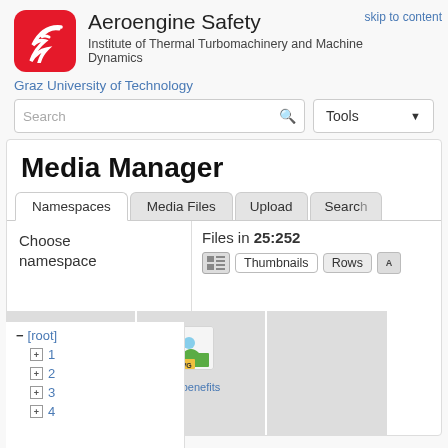[Figure (logo): Aeroengine Safety logo - red rounded square with white bird/wing silhouette]
Aeroengine Safety
Institute of Thermal Turbomachinery and Machine Dynamics
Graz University of Technology
skip to content
Media Manager
Files in 25:252
Choose namespace
- [root]
+ 1
+ 2
+ 3
+ 4
[Figure (screenshot): SVG file icon for assessm file]
[Figure (screenshot): SVG file icon for benefits file]
assessm
benefits